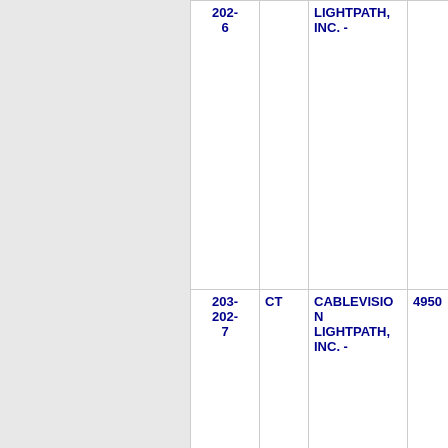| 203-
202-
6 | CT | CABLEVISION LIGHTPATH, INC. - | 4950 | DARIE |
| 203-
202-
7 | CT | CABLEVISION LIGHTPATH, INC. - | 4950 | DARIE |